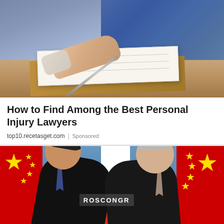[Figure (photo): Close-up photo of a person's hand holding a pen and writing on paper documents on a desk, with blue jeans visible in the background]
How to Find Among the Best Personal Injury Lawyers
top10.recetasget.com | Sponsored
[Figure (photo): Photo of two men in dark suits shaking hands or greeting each other in front of Chinese and Russian flags, with ROSCONGR text visible on a banner in the background]